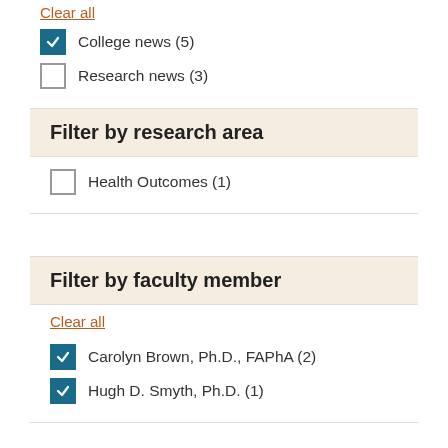Clear all
College news (5)
Research news (3)
Filter by research area
Health Outcomes (1)
Filter by faculty member
Clear all
Carolyn Brown, Ph.D., FAPhA (2)
Hugh D. Smyth, Ph.D. (1)